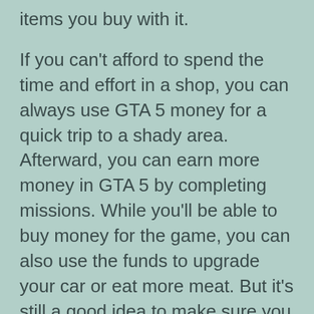items you buy with it.
If you can't afford to spend the time and effort in a shop, you can always use GTA 5 money for a quick trip to a shady area. Afterward, you can earn more money in GTA 5 by completing missions. While you'll be able to buy money for the game, you can also use the funds to upgrade your car or eat more meat. But it's still a good idea to make sure you have some extra cash around.https://www.youtube.com/embed/qkkkhiM3N_o